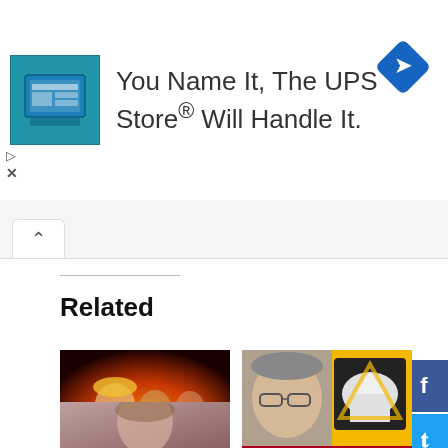[Figure (screenshot): UPS Store advertisement banner with store icon, text 'You Name It, The UPS Store® Will Handle It.' and a blue diamond direction arrow icon]
Related
[Figure (photo): Trump That Halloween - collage image with Trump faces and Halloween theme, fiery background]
Resist Donald Trump Halloween Costumes
10/13/2019
In "Advertainment"
[Figure (photo): Impeach William Barr Now - photo of William Barr with Capitol building and impeach sign on yellow background]
Impeach William Barr Now
05/02/2019
In "Resist"
[Figure (photo): Partial photo of a person, bottom of page]